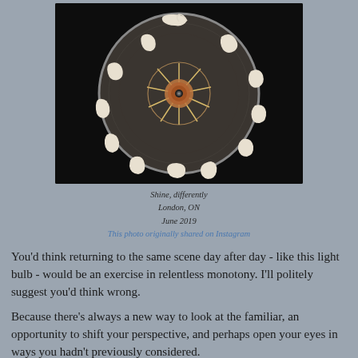[Figure (photo): Close-up photograph of a vintage incandescent light bulb viewed from below, showing the filament structure arranged like a starburst in the center and curved filament holders around the perimeter of the circular glass base, on a dark background.]
Shine, differently
London, ON
June 2019
This photo originally shared on Instagram
You'd think returning to the same scene day after day - like this light bulb - would be an exercise in relentless monotony. I'll politely suggest you'd think wrong.
Because there's always a new way to look at the familiar, an opportunity to shift your perspective, and perhaps open your eyes in ways you hadn't previously considered.